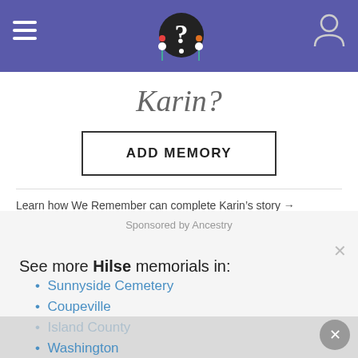Navigation header with logo and profile icon
Karin?
ADD MEMORY
Learn how We Remember can complete Karin's story →
Sponsored by Ancestry
See more Hilse memorials in:
Sunnyside Cemetery
Coupeville
Island County
Washington
USA